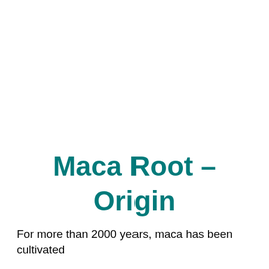Maca Root – Origin
For more than 2000 years, maca has been cultivated